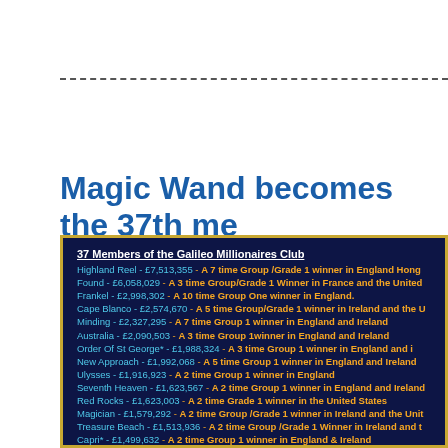Magic Wand becomes the 37th me
37 Members of the Galileo Millionaires Club
Highland Reel - £7,513,355 - A 7 time Group /Grade 1 winner in England Hong
Found - £6,058,029 - A 3 time Group/Grade 1 Winner in France and the United
Frankel - £2,998,302 - A 10 time Group One winner in England.
Cape Blanco - £2,574,670 - A 5 time Group/Grade 1 winner in Ireland and the U
Minding - £2,327,295 - A 7 time Group 1 winner in England and Ireland
Australia - £2,090,503 - A 3 time Group 1winner in England and Ireland
Order Of St George* - £1,988,324 - A 3 time Group 1 winner in England and i
New Approach - £1,992,068 - A 5 time Group 1 winner in England and Ireland
Ulysses - £1,916,923 - A 2 time Group 1 winner in England
Seventh Heaven - £1,623,567 - A 2 time Group 1 winner in England and Ireland
Red Rocks - £1,623,003 - A 2 time Grade 1 winner in the United States
Magician - £1,579,292 - A 2 time Group /Grade 1 winner in Ireland and the Unit
Treasure Beach - £1,513,936 - A 2 time Group /Grade 1 Winner in Ireland and t
Capri* - £1,499,632 - A 2 time Group 1 winner in England & Ireland
Adelaide - £1,471,592 - A 2 time Group / Grade 1 winner in Australia and the U
Nathaniel - £1,464,688 - A 2 time Group 1 winner in England
Churchill - £1,392,478 - A 4 time Group 1 winner in England & Ireland